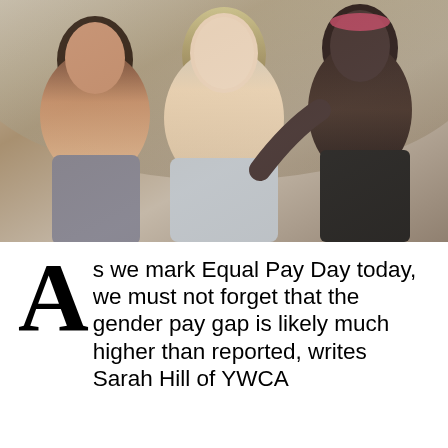[Figure (photo): Three young women posing together outdoors against a rocky/earthy background. Left: woman with long dark hair leaning on center woman's shoulder. Center: woman with blonde-highlighted hair smiling broadly. Right: woman with dark skin wearing a black top and colorful headband, arm around center woman.]
As we mark Equal Pay Day today, we must not forget that the gender pay gap is likely much higher than reported, writes Sarah Hill of YWCA